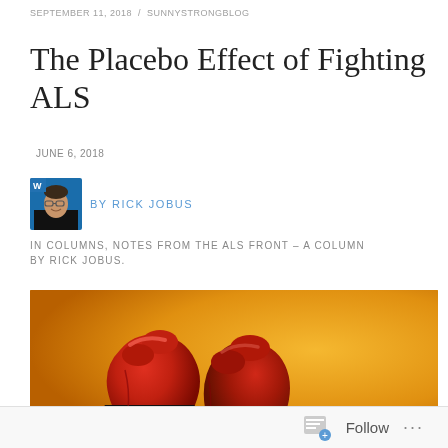SEPTEMBER 11, 2018 / SUNNYSTRONGBLOG
The Placebo Effect of Fighting ALS
JUNE 6, 2018
BY RICK JOBUS
IN COLUMNS, NOTES FROM THE ALS FRONT – A COLUMN BY RICK JOBUS.
[Figure (photo): Red boxing gloves raised against a yellow/orange background, captured in close-up showing the gloves in a fighting stance.]